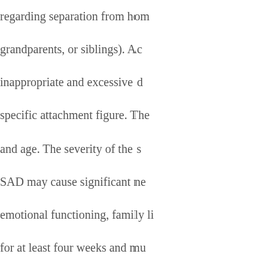regarding separation from home, grandparents, or siblings). Ac... inappropriate and excessive d... specific attachment figure. The... and age. The severity of the s... SAD may cause significant ne... emotional functioning, family li... for at least four weeks and mu... DSM-IV
Above excerpts from Wikipedi...
Tagged GAD, panic, phobias, PTS...
Shut up, Just ...
By Leah Corbett · November 3...